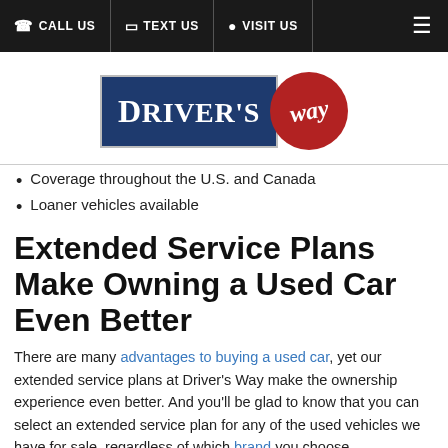CALL US | TEXT US | VISIT US
[Figure (logo): Driver's Way logo with blue rectangle containing 'DRIVER'S' in white serif text and a red circle with 'way' in white italic text]
Coverage throughout the U.S. and Canada
Loaner vehicles available
Extended Service Plans Make Owning a Used Car Even Better
There are many advantages to buying a used car, yet our extended service plans at Driver's Way make the ownership experience even better. And you'll be glad to know that you can select an extended service plan for any of the used vehicles we have for sale, regardless of which brand you choose.
Contact Our Team for More